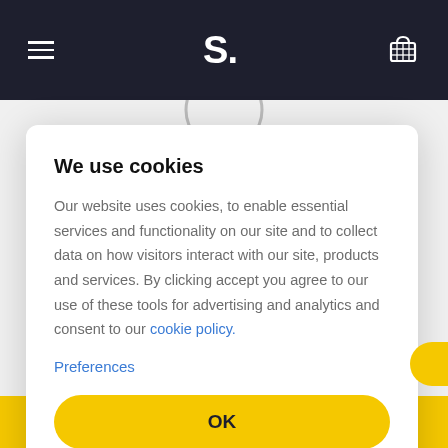S. [navigation bar with hamburger menu, logo, and cart icon]
We use cookies
Our website uses cookies, to enable essential services and functionality on our site and to collect data on how visitors interact with our site, products and services. By clicking accept you agree to our use of these tools for advertising and analytics and consent to our cookie policy.
Preferences
OK
See Web Hosting